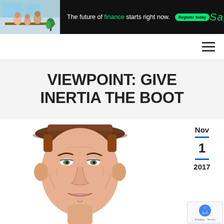[Figure (photo): Sage advertisement banner with dark background, photo of people in office on left, green tagline text 'The future of finance starts right now.' with Register today button, and Sage logo in green italic on right]
Navigation bar with hamburger menu icon
VIEWPOINT: GIVE INERTIA THE BOOT
[Figure (illustration): Caricature illustration of a man's face with brown hair, rendered in a line-art style with light skin tones]
Nov 1 2017